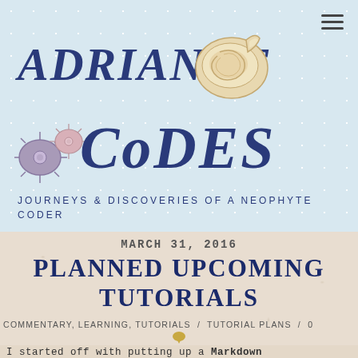[Figure (logo): Adrianne Codes blog logo with hand-drawn text, sea shells, and sea urchin illustrations on light blue dotted background]
JOURNEYS & DISCOVERIES OF A NEOPHYTE CODER
MARCH 31, 2016
PLANNED UPCOMING TUTORIALS
COMMENTARY, LEARNING, TUTORIALS / TUTORIAL PLANS / 0
I started off with putting up a Markdown